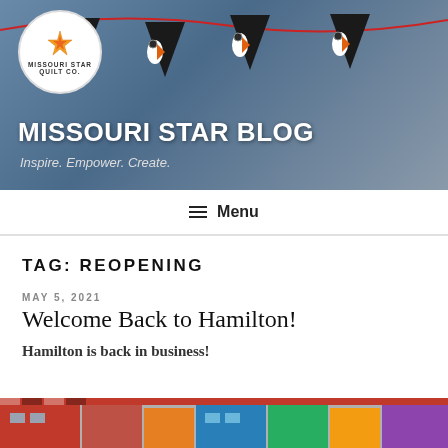[Figure (photo): Hero banner with penguin quilt bunting hanging on a red string against a blurred indoor background. Missouri Star Quilt Co. logo circle in top-left.]
MISSOURI STAR BLOG
Inspire. Empower. Create.
☰ Menu
TAG: REOPENING
MAY 5, 2021
Welcome Back to Hamilton!
Hamilton is back in business!
[Figure (photo): Partial bottom image strip showing colorful storefronts in Hamilton, Missouri.]